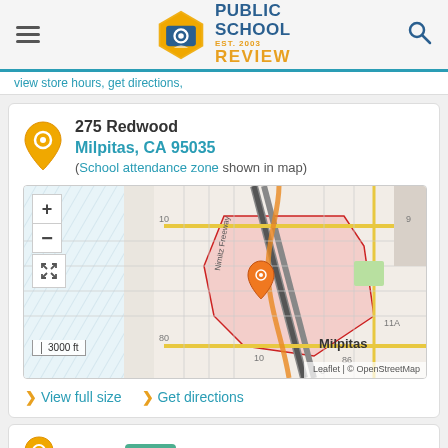Public School Review EST. 2003
view store hours, get directions,
275 Redwood
Milpitas, CA 95035
(School attendance zone shown in map)
[Figure (map): Street map of Milpitas, CA area showing school attendance zone highlighted in red/pink overlay. Map shows Nimitz Freeway, street grid, and location pin at school. Scale bar shows 3000 ft. Attribution: Leaflet | © OpenStreetMap]
> View full size  > Get directions
Rating: 10/40  Top 10%